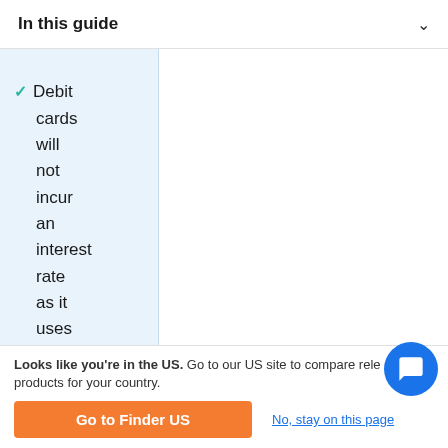In this guide
Debit cards will not incur an interest rate as it uses your own money